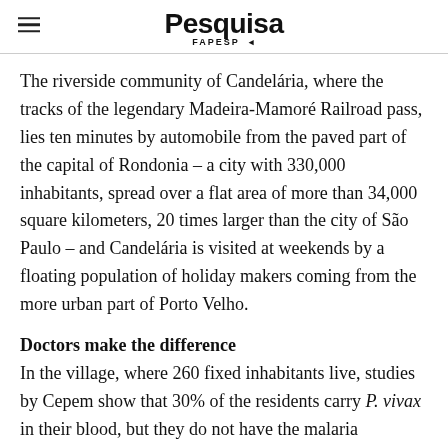Pesquisa FAPESP
The riverside community of Candelária, where the tracks of the legendary Madeira-Mamoré Railroad pass, lies ten minutes by automobile from the paved part of the capital of Rondonia – a city with 330,000 inhabitants, spread over a flat area of more than 34,000 square kilometers, 20 times larger than the city of São Paulo – and Candelária is visited at weekends by a floating population of holiday makers coming from the more urban part of Porto Velho.
Doctors make the difference
In the village, where 260 fixed inhabitants live, studies by Cepem show that 30% of the residents carry P. vivax in their blood, but they do not have the malaria